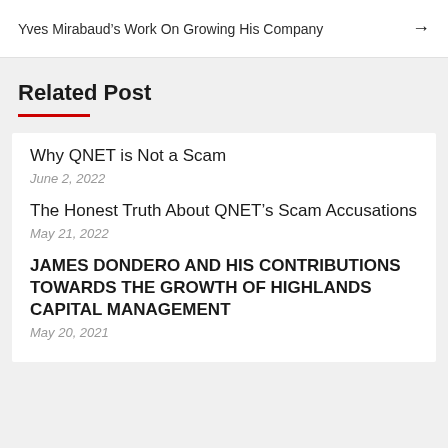Yves Mirabaud's Work On Growing His Company →
Related Post
Why QNET is Not a Scam
June 2, 2022
The Honest Truth About QNET's Scam Accusations
May 21, 2022
JAMES DONDERO AND HIS CONTRIBUTIONS TOWARDS THE GROWTH OF HIGHLANDS CAPITAL MANAGEMENT
May 20, 2021